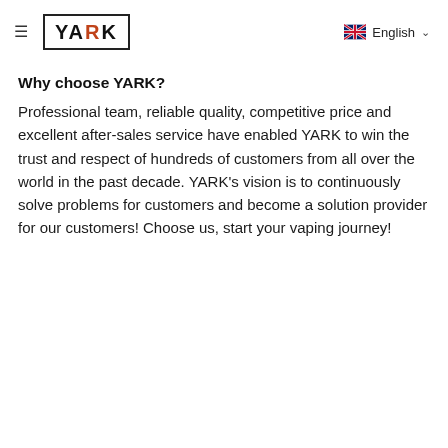≡ YARK   English
Why choose YARK?
Professional team, reliable quality, competitive price and excellent after-sales service have enabled YARK to win the trust and respect of hundreds of customers from all over the world in the past decade. YARK's vision is to continuously solve problems for customers and become a solution provider for our customers! Choose us, start your vaping journey!